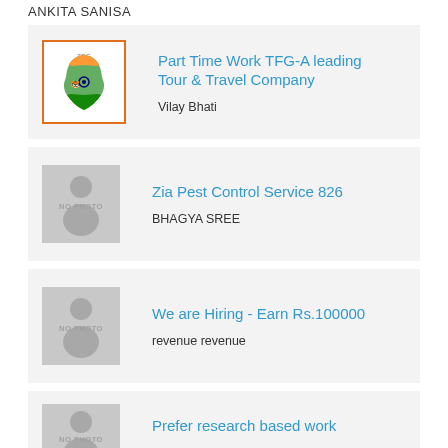ANKITA SANISA
[Figure (logo): India map logo with orange border, colorful India map graphic]
Part Time Work TFG-A leading Tour & Travel Company
Vilay Bhati
[Figure (photo): No photo placeholder - grey silhouette]
Zia Pest Control Service 826
BHAGYA SREE
[Figure (photo): No photo placeholder - grey silhouette]
We are Hiring - Earn Rs.100000
revenue revenue
[Figure (photo): No photo placeholder - grey silhouette]
Prefer research based work
Ankita Lunia